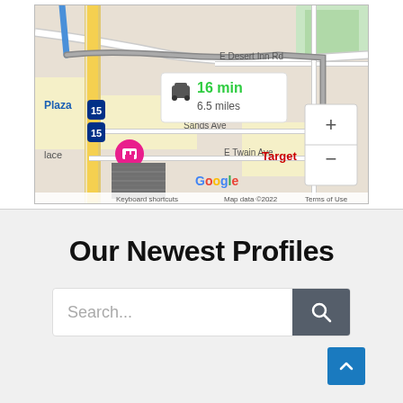[Figure (map): Google Maps screenshot showing a driving route of 16 min / 6.5 miles near Las Vegas. Shows E Desert Inn Rd, Sands Ave, E Twain Ave, Target, Plaza, and a zoom +/- control. Google branding, Keyboard shortcuts, Map data ©2022, Terms of Use text visible.]
Our Newest Profiles
[Figure (other): Search bar with placeholder text 'Search...' and a dark search button with magnifying glass icon, and a blue scroll-to-top arrow button.]